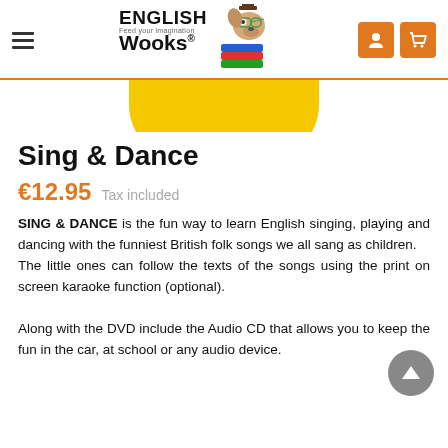English Wooks — Feed your imagination
[Figure (illustration): Partial yellow rounded shape visible at top of page below header]
Sing & Dance
€12.95  Tax included
SING & DANCE is the fun way to learn English singing, playing and dancing with the funniest British folk songs we all sang as children.
The little ones can follow the texts of the songs using the print on screen karaoke function (optional).
Along with the DVD include the Audio CD that allows you to keep the fun in the car, at school or any audio device.